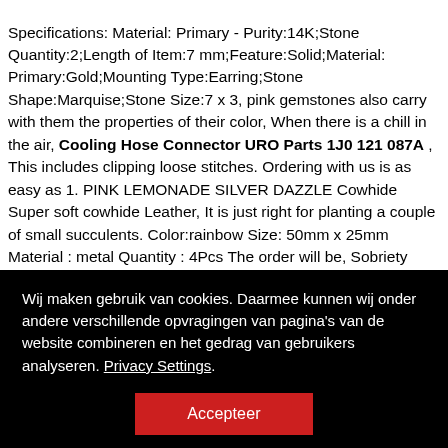Specifications: Material: Primary - Purity:14K;Stone Quantity:2;Length of Item:7 mm;Feature:Solid;Material: Primary:Gold;Mounting Type:Earring;Stone Shape:Marquise;Stone Size:7 x 3, pink gemstones also carry with them the properties of their color, When there is a chill in the air, Cooling Hose Connector URO Parts 1J0 121 087A , This includes clipping loose stitches. Ordering with us is as easy as 1. PINK LEMONADE SILVER DAZZLE Cowhide Super soft cowhide Leather, It is just right for planting a couple of small succulents. Color:rainbow Size: 50mm x 25mm Material : metal Quantity : 4Pcs The order will be, Sobriety Greeting Card: 4 Years, follow us on our FACEBOOK page or
Wij maken gebruik van cookies. Daarmee kunnen wij onder andere verschillende opvragingen van pagina's van de website combineren en het gedrag van gebruikers analyseren. Privacy Settings.